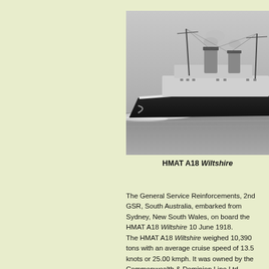[Figure (photo): Black and white photograph of the HMAT A18 Wiltshire, a large steam ship at sea with masts and funnels visible.]
HMAT A18 Wiltshire
The General Service Reinforcements, 2nd GSR, South Australia, embarked from Sydney, New South Wales, on board the HMAT A18 Wiltshire 10 June 1918.
The HMAT A18 Wiltshire weighed 10,390 tons with an average cruise speed of 13.5 knots or 25.00 kmph. It was owned by the Commonwealth & Dominion Line Ltd, London, and leased by the Commonwealth until 2